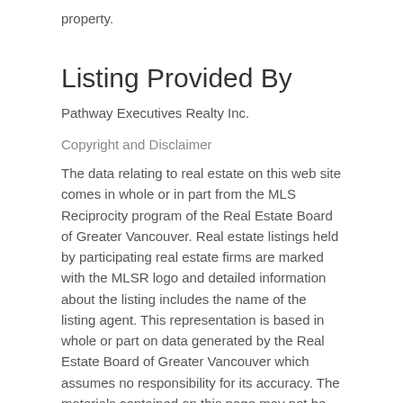property.
Listing Provided By
Pathway Executives Realty Inc.
Copyright and Disclaimer
The data relating to real estate on this web site comes in whole or in part from the MLS Reciprocity program of the Real Estate Board of Greater Vancouver. Real estate listings held by participating real estate firms are marked with the MLSR logo and detailed information about the listing includes the name of the listing agent. This representation is based in whole or part on data generated by the Real Estate Board of Greater Vancouver which assumes no responsibility for its accuracy. The materials contained on this page may not be reproduced without the express written consent of the Real Estate Board of Greater Vancouver.